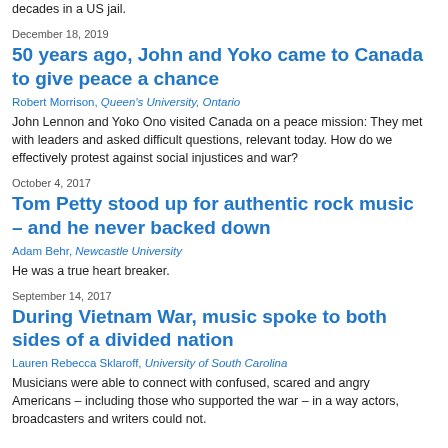decades in a US jail.
December 18, 2019
50 years ago, John and Yoko came to Canada to give peace a chance
Robert Morrison, Queen's University, Ontario
John Lennon and Yoko Ono visited Canada on a peace mission: They met with leaders and asked difficult questions, relevant today. How do we effectively protest against social injustices and war?
October 4, 2017
Tom Petty stood up for authentic rock music – and he never backed down
Adam Behr, Newcastle University
He was a true heart breaker.
September 14, 2017
During Vietnam War, music spoke to both sides of a divided nation
Lauren Rebecca Sklaroff, University of South Carolina
Musicians were able to connect with confused, scared and angry Americans – including those who supported the war – in a way actors, broadcasters and writers could not.